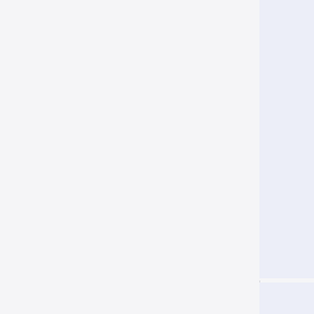| lpf_2-person... | new_... |
| --- | --- |
| 40×40
2011/01/19
17:52
808 B | 20... |
| nlm.gif
42×43
2011/01/19
17:53
1.5 KB | op...
20... |